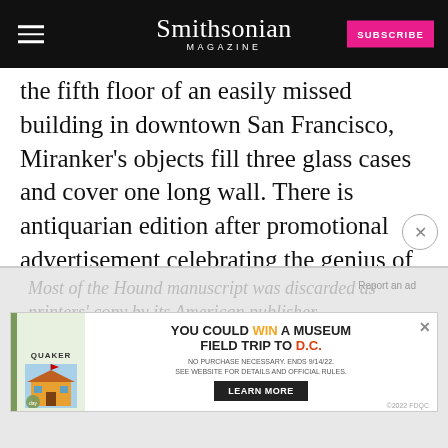Smithsonian MAGAZINE
the fifth floor of an easily missed building in downtown San Francisco, Miranker's objects fill three glass cases and cover one long wall. There is antiquarian edition after promotional advertisement celebrating the genius of Doyle's third novel. Miranker even possesses a couple of leaves from the original manuscript, which, the exhibition text explains, are incredibly rare:
[Figure (screenshot): Advertisement banner for Quaker Museum Day promotion: 'You could win a museum field trip to D.C.' with Learn More button, overlaid on a gray background with faded italic article text behind it.]